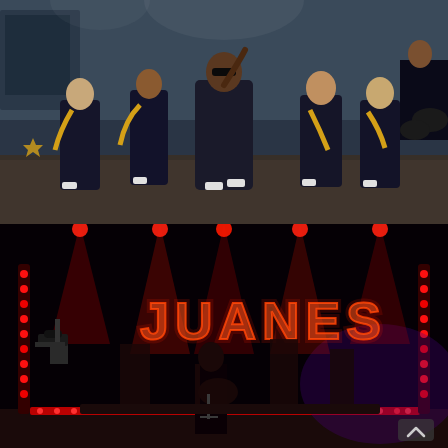[Figure (photo): A music video or performance scene showing a male performer in dark sunglasses and black outfit at center, surrounded by backup dancers wearing black outfits with yellow scarves/accessories. The setting appears to be an industrial warehouse-style space with warm lighting.]
[Figure (photo): A concert stage performance showing a guitarist performing in front of a large illuminated JUANES neon sign in red/orange. The stage is lit with red spotlights from above and vertical LED strips on the sides. A camera rig is visible on the left.]